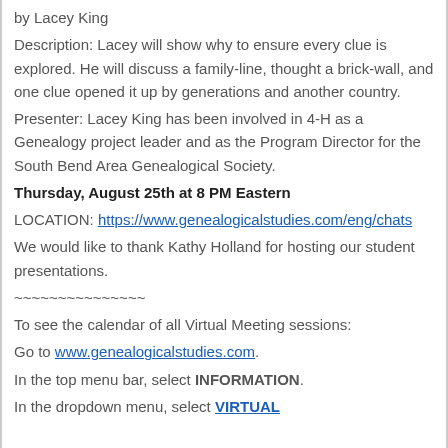by Lacey King
Description: Lacey will show why to ensure every clue is explored. He will discuss a family-line, thought a brick-wall, and one clue opened it up by generations and another country.
Presenter: Lacey King has been involved in 4-H as a Genealogy project leader and as the Program Director for the South Bend Area Genealogical Society.
Thursday, August 25th at 8 PM Eastern
LOCATION: https://www.genealogicalstudies.com/eng/chats
We would like to thank Kathy Holland for hosting our student presentations.
~~~~~~~~~~~~~~~
To see the calendar of all Virtual Meeting sessions:
Go to www.genealogicalstudies.com.
In the top menu bar, select INFORMATION.
In the dropdown menu, select VIRTUAL